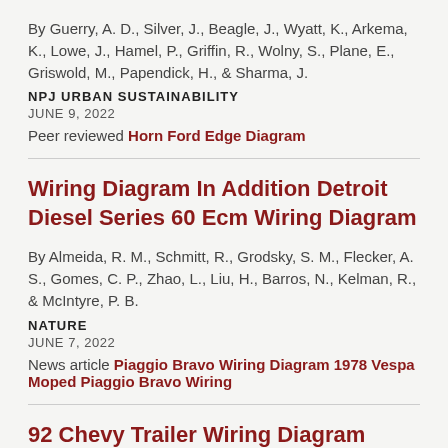By Guerry, A. D., Silver, J., Beagle, J., Wyatt, K., Arkema, K., Lowe, J., Hamel, P., Griffin, R., Wolny, S., Plane, E., Griswold, M., Papendick, H., & Sharma, J.
NPJ URBAN SUSTAINABILITY
JUNE 9, 2022
Peer reviewed Horn Ford Edge Diagram
Wiring Diagram In Addition Detroit Diesel Series 60 Ecm Wiring Diagram
By Almeida, R. M., Schmitt, R., Grodsky, S. M., Flecker, A. S., Gomes, C. P., Zhao, L., Liu, H., Barros, N., Kelman, R., & McIntyre, P. B.
NATURE
JUNE 7, 2022
News article Piaggio Bravo Wiring Diagram 1978 Vespa Moped Piaggio Bravo Wiring
92 Chevy Trailer Wiring Diagram